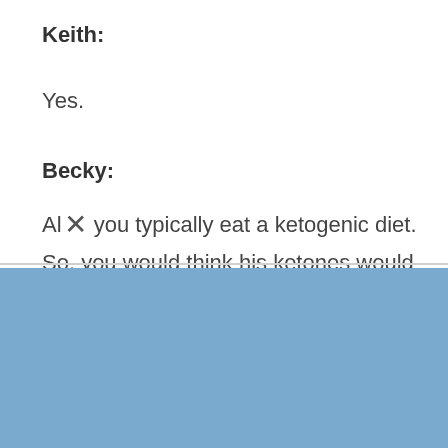Keith:
Yes.
Becky:
Also, you typically eat a ketogenic diet. So, you would think his ketones would be higher.
Get Dr. Becky's 4 Daily Habits for Weight Loss
[Figure (other): Email input field with placeholder text 'Email']
[Figure (other): Submit button labeled 'Yes! I'm Ready!']